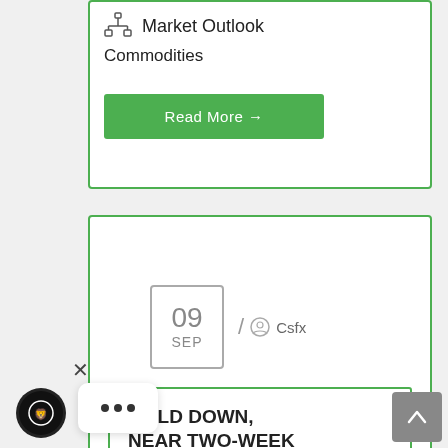[Figure (infographic): Card with organizational icon, Market Outlook title, Commodities subtitle, and green Read More button]
Market Outlook
Commodities
Read More →
[Figure (infographic): Card with date box showing 09 SEP, author icon and Csfx, and article title box]
09 SEP / Csfx
GOLD DOWN, NEAR TWO-WEEK